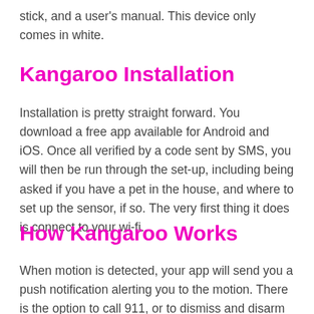stick, and a user's manual. This device only comes in white.
Kangaroo Installation
Installation is pretty straight forward. You download a free app available for Android and iOS. Once all verified by a code sent by SMS, you will then be run through the set-up, including being asked if you have a pet in the house, and where to set up the sensor, if so. The very first thing it does is connect to your wi-fi.
How Kangaroo Works
When motion is detected, your app will send you a push notification alerting you to the motion. There is the option to call 911, or to dismiss and disarm your